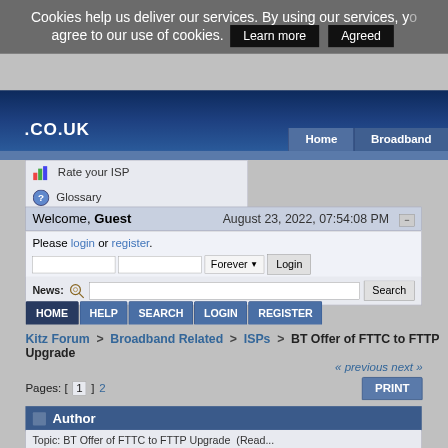Cookies help us deliver our services. By using our services, you agree to our use of cookies. Learn more Agreed
[Figure (screenshot): Kitz.co.uk website header with logo and navigation buttons Home, Broadband]
Rate your ISP
Glossary
Welcome, Guest   August 23, 2022, 07:54:08 PM
Please login or register.  Login with username, password and session length
News:  Search
HOME  HELP  SEARCH  LOGIN  REGISTER
Kitz Forum > Broadband Related > ISPs > BT Offer of FTTC to FTTP Upgrade
« previous next »
Pages: [1] 2   PRINT
Author